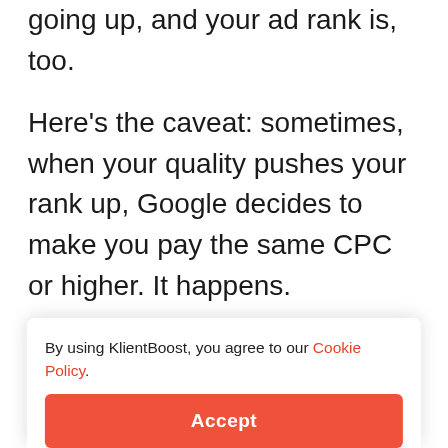So you're seeing that your Quality Scores are going up, and your ad rank is, too.
Here's the caveat: sometimes, when your quality pushes your rank up, Google decides to make you pay the same CPC or higher. It happens.
Why is that? Well, let's just say that I don't completely trust the automated system that is supposed to only charge you one cent more than the ad below you (given that all metrics are the same between you two).
A... h...
By using KlientBoost, you agree to our Cookie Policy.
Accept